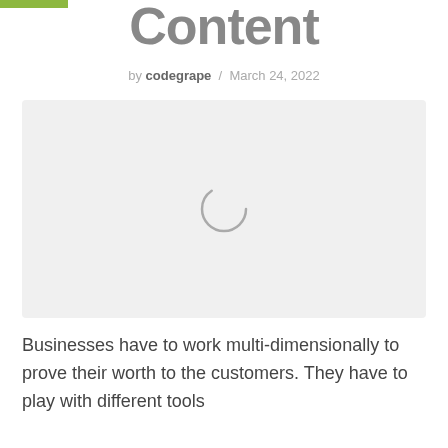Content
by codegrape / March 24, 2022
[Figure (other): Loading spinner / placeholder image area with light gray background]
Businesses have to work multi-dimensionally to prove their worth to the customers. They have to play with different tools